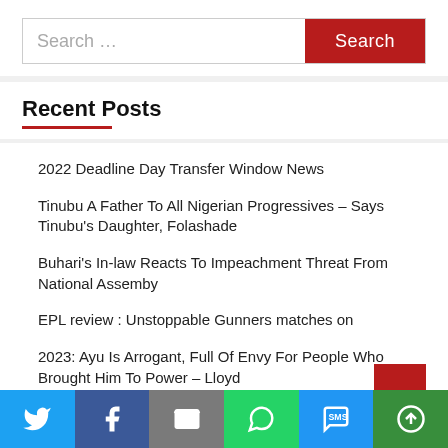Search ...
Recent Posts
2022 Deadline Day Transfer Window News
Tinubu A Father To All Nigerian Progressives – Says Tinubu's Daughter, Folashade
Buhari's In-law Reacts To Impeachment Threat From National Assemby
EPL review : Unstoppable Gunners matches on
2023: Ayu Is Arrogant, Full Of Envy For People Who Brought Him To Power – Lloyd